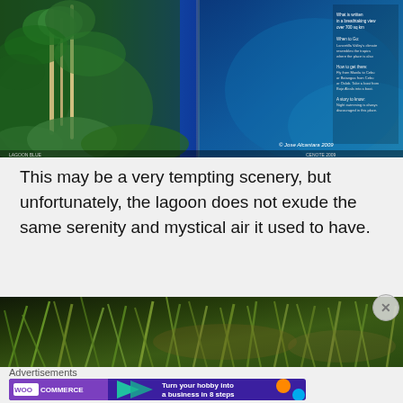[Figure (photo): A magazine spread showing a blue tropical lagoon surrounded by lush green tropical vegetation and trees. The right side shows the lagoon's blue water with a copyright notice '© Jose Alcantara 2009' and text overlay on the right side of the spread.]
This may be a very tempting scenery, but unfortunately, the lagoon does not exude the same serenity and mystical air it used to have.
[Figure (photo): A close-up photograph of green reed-like or grass-like plants, appearing to show aquatic or wetland vegetation with thin elongated leaves.]
Advertisements
[Figure (other): WooCommerce advertisement banner with text 'Turn your hobby into a business in 8 steps' on a dark purple background with colorful geometric shapes.]